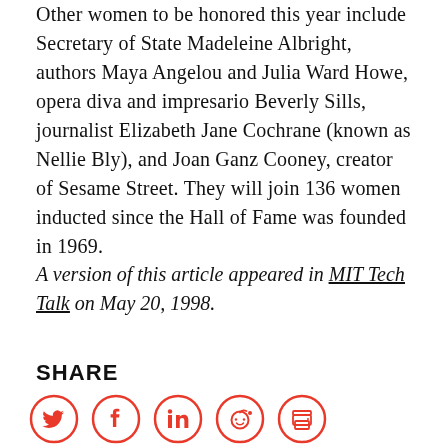Other women to be honored this year include Secretary of State Madeleine Albright, authors Maya Angelou and Julia Ward Howe, opera diva and impresario Beverly Sills, journalist Elizabeth Jane Cochrane (known as Nellie Bly), and Joan Ganz Cooney, creator of Sesame Street. They will join 136 women inducted since the Hall of Fame was founded in 1969.
A version of this article appeared in MIT Tech Talk on May 20, 1998.
SHARE
[Figure (other): Social share icons: Twitter, Facebook, LinkedIn, Reddit, Print — each in a red circle outline]